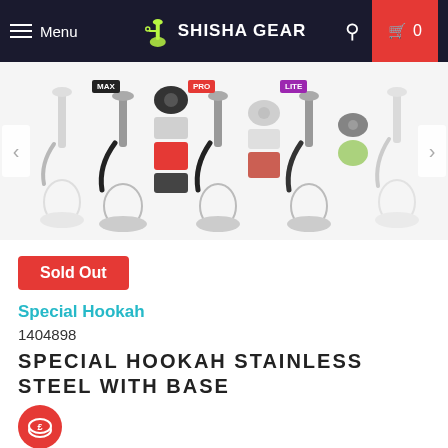Menu | SHISHA GEAR | 0
[Figure (photo): Product carousel showing multiple versions of Special Hookah Stainless Steel with Base. Items labeled MAX, PRO, LITE. Navigation arrows on left and right. Some items show bundle accessories.]
Sold Out
Special Hookah
1404898
SPECIAL HOOKAH STAINLESS STEEL WITH BASE
£221.99 £249.99 Sold out